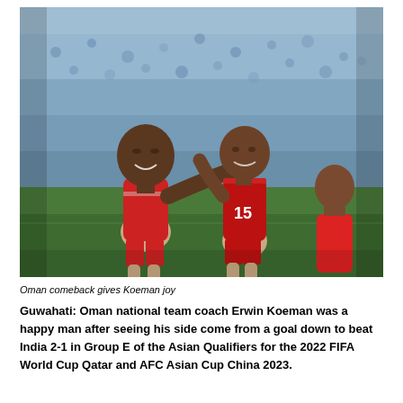[Figure (photo): Two Oman national football team players in red jerseys celebrating on the field. Player number 15 is being embraced by a teammate. Stadium background with blurred crowd.]
Oman comeback gives Koeman joy
Guwahati: Oman national team coach Erwin Koeman was a happy man after seeing his side come from a goal down to beat India 2-1 in Group E of the Asian Qualifiers for the 2022 FIFA World Cup Qatar and AFC Asian Cup China 2023.